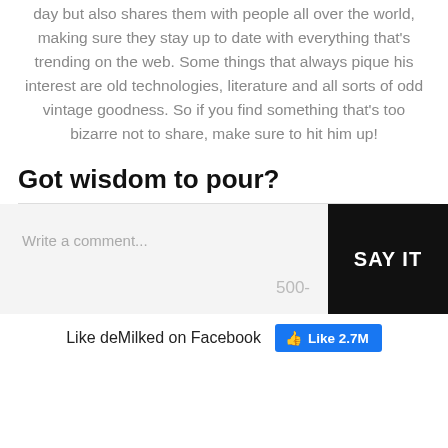day but also shares them with people all over the world, making sure they stay up to date with everything that's trending on the web. Some things that always pique his interest are old technologies, literature and all sorts of odd vintage goodness. So if you find something that's too bizarre not to share, make sure to hit him up!
Got wisdom to pour?
Write a comment...
SAY IT
500-
Like deMilked on Facebook
👍 Like 2.7M